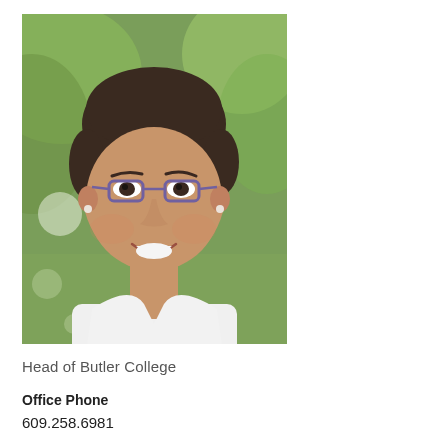[Figure (photo): Professional headshot of a woman with short dark hair and glasses, wearing a white top, smiling, with a blurred green outdoor background.]
Head of Butler College
Office Phone
609.258.6981